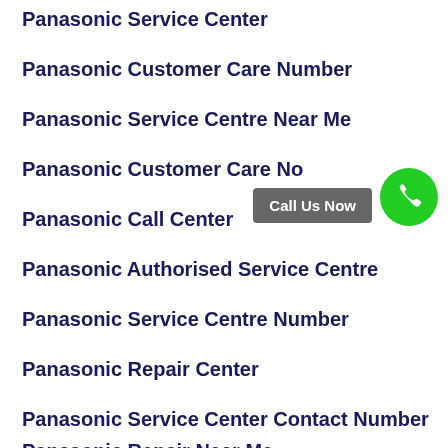Panasonic Service Center
Panasonic Customer Care Number
Panasonic Service Centre Near Me
Panasonic Customer Care No
Panasonic Call Center
Panasonic Authorised Service Centre
Panasonic Service Centre Number
Panasonic Repair Center
Panasonic Service Center Contact Number
Panasonic Repair Near Me